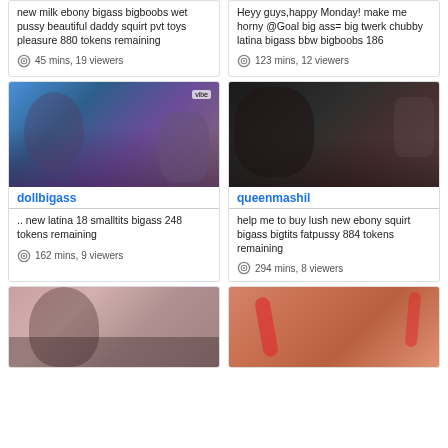new milk ebony bigass bigboobs wet pussy beautiful daddy squirt pvt toys pleasure 880 tokens remaining
45 mins, 19 viewers
Heyy guys,happy Monday! make me horny @Goal big ass= big twerk chubby latina bigass bbw bigboobs 186
123 mins, 12 viewers
[Figure (photo): Woman in fishnet outfit posing - dollbigass stream thumbnail]
dollbigass
.. new latina 18 smalltits bigass 248 tokens remaining
162 mins, 9 viewers
[Figure (photo): Dark skinned person - queenmashil stream thumbnail]
queenmashil
help me to buy lush new ebony squirt bigass bigtits fatpussy 884 tokens remaining
294 mins, 8 viewers
[Figure (photo): Woman with curly hair in black outfit - stream thumbnail]
[Figure (photo): Close-up adult content stream thumbnail]